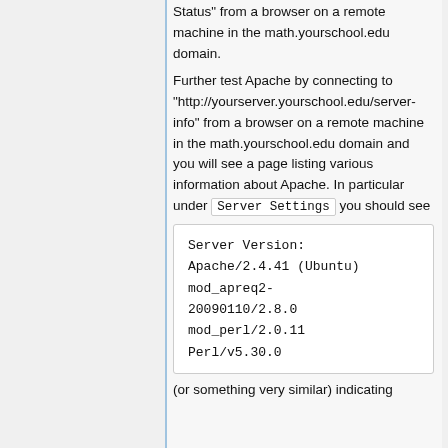Status" from a browser on a remote machine in the math.yourschool.edu domain.
Further test Apache by connecting to "http://yourserver.yourschool.edu/server-info" from a browser on a remote machine in the math.yourschool.edu domain and you will see a page listing various information about Apache. In particular under Server Settings you should see
Server Version: Apache/2.4.41 (Ubuntu) mod_apreq2-20090110/2.8.0 mod_perl/2.0.11 Perl/v5.30.0
(or something very similar) indicating